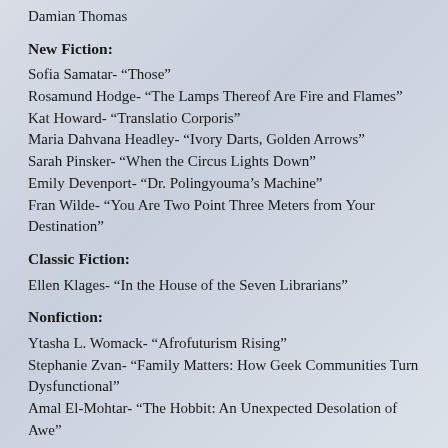Damian Thomas
New Fiction:
Sofia Samatar- “Those”
Rosamund Hodge- “The Lamps Thereof Are Fire and Flames”
Kat Howard- “Translatio Corporis”
Maria Dahvana Headley- “Ivory Darts, Golden Arrows”
Sarah Pinsker- “When the Circus Lights Down”
Emily Devenport- “Dr. Polingyouma’s Machine”
Fran Wilde- “You Are Two Point Three Meters from Your Destination”
Classic Fiction:
Ellen Klages- “In the House of the Seven Librarians”
Nonfiction:
Ytasha L. Womack- “Afrofuturism Rising”
Stephanie Zvan- “Family Matters: How Geek Communities Turn Dysfunctional”
Amal El-Mohtar- “The Hobbit: An Unexpected Desolation of Awe”